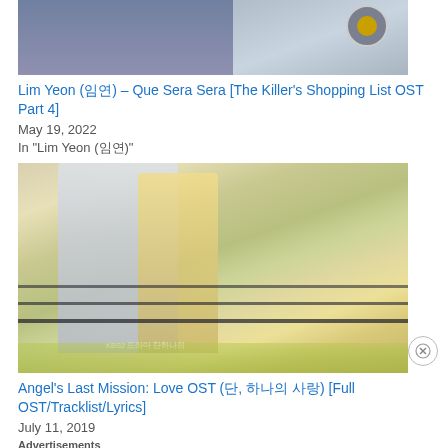[Figure (photo): Top portion of a photo showing a person in a police uniform, partially cropped]
Lim Yeon (임연) – Que Sera Sera [The Killer's Shopping List OST Part 4]
May 19, 2022
In "Lim Yeon (임연)"
[Figure (photo): A couple kissing near an ornate railing, the woman in a yellow dress holding hands with the man in a white blazer; Korean drama promotional image with KBS2 logo overlay]
Angel's Last Mission: Love OST (단, 하나의 사랑) [Full OST/Tracklist/Lyrics]
July 11, 2019
Advertisements
[Figure (infographic): WordPress advertisement banner: 'Create immersive stories. GET THE APP' with WordPress logo]